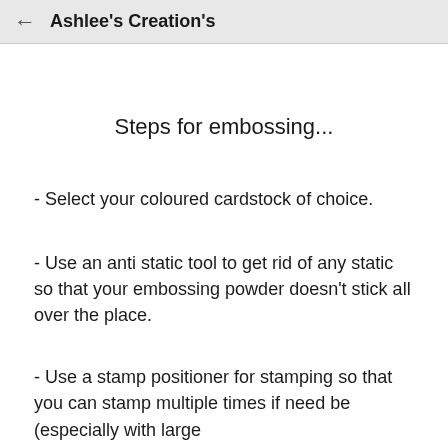Ashlee's Creation's
Steps for embossing...
- Select your coloured cardstock of choice.
- Use an anti static tool to get rid of any static so that your embossing powder doesn't stick all over the place.
- Use a stamp positioner for stamping so that you can stamp multiple times if need be (especially with large